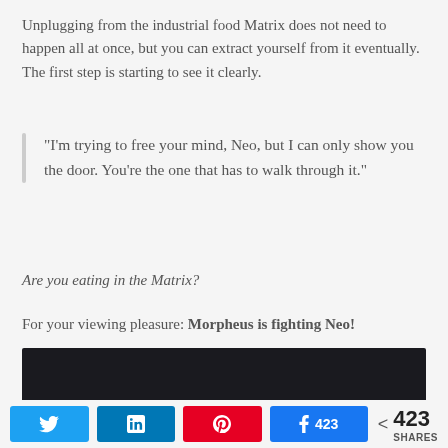Unplugging from the industrial food Matrix does not need to happen all at once, but you can extract yourself from it eventually. The first step is starting to see it clearly.
“I’m trying to free your mind, Neo, but I can only show you the door. You’re the one that has to walk through it.”
Are you eating in the Matrix?
For your viewing pleasure: Morpheus is fighting Neo!
[Figure (screenshot): Black video player embed block]
423 SHARES — social share buttons: Twitter, LinkedIn, Pinterest, Facebook (423)